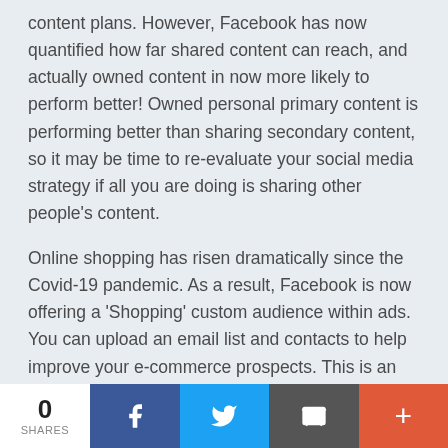content plans. However, Facebook has now quantified how far shared content can reach, and actually owned content in now more likely to perform better! Owned personal primary content is performing better than sharing secondary content, so it may be time to re-evaluate your social media strategy if all you are doing is sharing other people's content.
Online shopping has risen dramatically since the Covid-19 pandemic. As a result, Facebook is now offering a 'Shopping' custom audience within ads. You can upload an email list and contacts to help improve your e-commerce prospects. This is an attempt for paid advertising to perform better by allowing you to direct your customer base directly to product pages.
0 SHARES | Share on Facebook | Share on Twitter | Share via Email | More